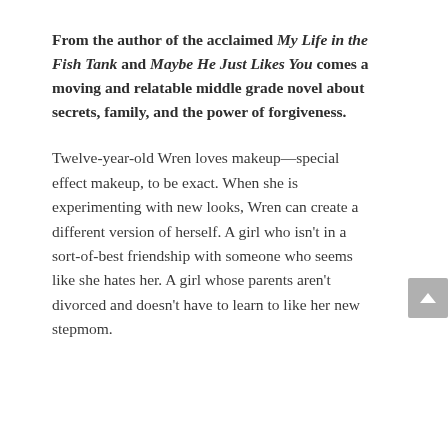From the author of the acclaimed My Life in the Fish Tank and Maybe He Just Likes You comes a moving and relatable middle grade novel about secrets, family, and the power of forgiveness.
Twelve-year-old Wren loves makeup—special effect makeup, to be exact. When she is experimenting with new looks, Wren can create a different version of herself. A girl who isn't in a sort-of-best friendship with someone who seems like she hates her. A girl whose parents aren't divorced and doesn't have to learn to like her new stepmom.